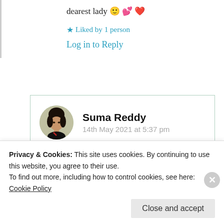dearest lady 🙂 💕 ❤️
★ Liked by 1 person
Log in to Reply
[Figure (photo): Circular avatar photo of Suma Reddy]
Suma Reddy
14th May 2021 at 5:37 pm
If you want this particular video, I can
Privacy & Cookies: This site uses cookies. By continuing to use this website, you agree to their use.
To find out more, including how to control cookies, see here: Cookie Policy
Close and accept